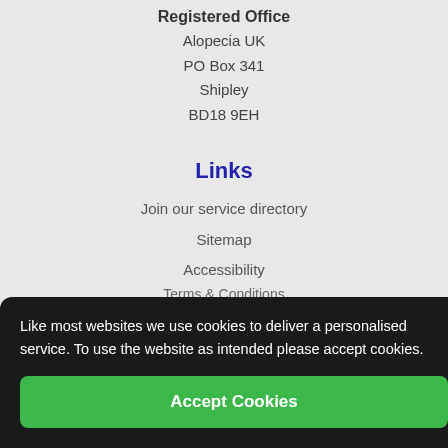Registered Office
Alopecia UK
PO Box 341
Shipley
BD18 9EH
Links
Join our service directory
Sitemap
Accessibility
Terms & Conditions
Privacy Policy
Contact us
Follow us
Like most websites we use cookies to deliver a personalised service. To use the website as intended please accept cookies.
Accept Cookies